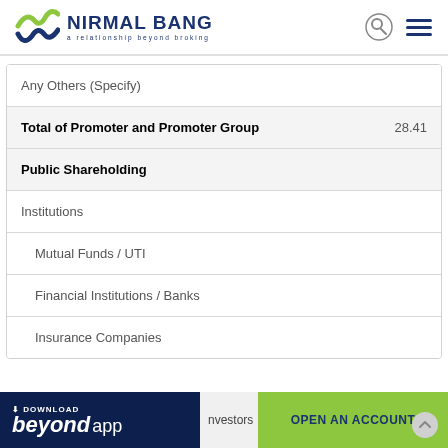NIRMAL BANG — a relationship beyond broking
| Category | Value |
| --- | --- |
| Any Others (Specify) |  |
| Total of Promoter and Promoter Group | 28.41 |
| Public Shareholding |  |
| Institutions |  |
| Mutual Funds / UTI |  |
| Financial Institutions / Banks |  |
| Insurance Companies |  |
[Figure (screenshot): Bottom banner with 'Download beyond app' on left and 'OPEN AN ACCOUNT' button on right]